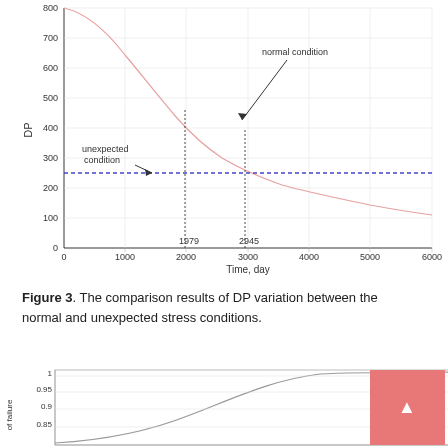[Figure (continuous-plot): Line chart comparing DP variation over time (0-6000 days) for normal condition (curve decreasing from ~800 to ~150) and unexpected condition (horizontal dashed line at ~250). Vertical dotted lines mark 1979 and 2945 days where the normal condition curve crosses the threshold.]
Figure 3. The comparison results of DP variation between the normal and unexpected stress conditions.
[Figure (continuous-plot): S-curve (CDF-like) showing probability of failure rising from ~0 to ~1 over time, with y-axis labels at 0.85, 0.9, 0.95, 1.]